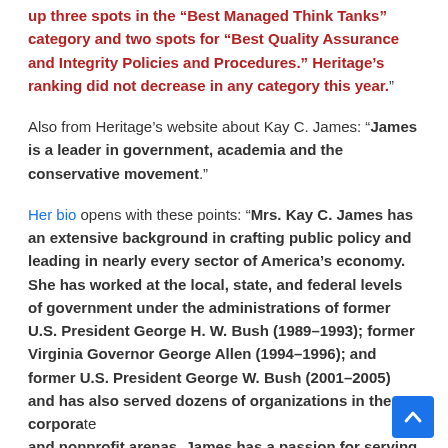up three spots in the "Best Managed Think Tanks" category and two spots for "Best Quality Assurance and Integrity Policies and Procedures." Heritage's ranking did not decrease in any category this year."
Also from Heritage's website about Kay C. James: "James is a leader in government, academia and the conservative movement."
Her bio opens with these points: "Mrs. Kay C. James has an extensive background in crafting public policy and leading in nearly every sector of America's economy. She has worked at the local, state, and federal levels of government under the administrations of former U.S. President George H. W. Bush (1989–1993); former Virginia Governor George Allen (1994–1996); and former U.S. President George W. Bush (2001–2005) and has also served dozens of organizations in the corporate and nonprofit arenas. James has a passion for serving the"